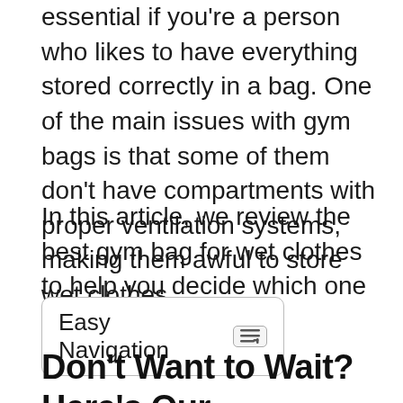essential if you're a person who likes to have everything stored correctly in a bag. One of the main issues with gym bags is that some of them don't have compartments with proper ventilation systems, making them awful to store wet clothes.
In this article, we review the best gym bag for wet clothes to help you decide which one is best for you.
Easy Navigation
Don't Want to Wait? Here's Our